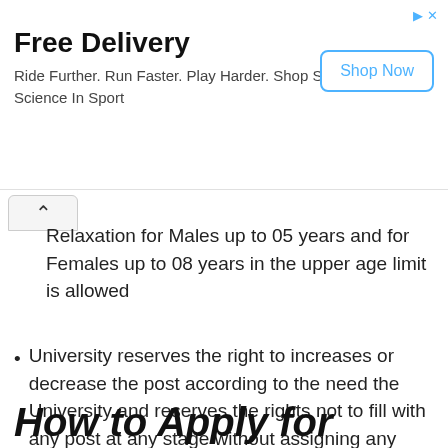[Figure (other): Advertisement banner: Free Delivery - Ride Further. Run Faster. Play Harder. Shop SiS Science In Sport. Shop Now button.]
Relaxation for Males up to 05 years and for Females up to 08 years in the upper age limit is allowed
University reserves the right to increases or decrease the post according to the need the University and reserves the rights not to fill with any post at any stage without assigning any reason
The closing date of the application is 24 January 2022
How to Apply for